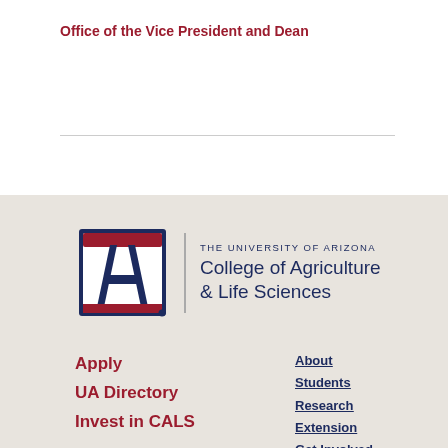Office of the Vice President and Dean
[Figure (logo): University of Arizona College of Agriculture & Life Sciences logo with block letter A in navy/red and text]
Apply
UA Directory
Invest in CALS
About
Students
Research
Extension
Get Involved
Industry & Community